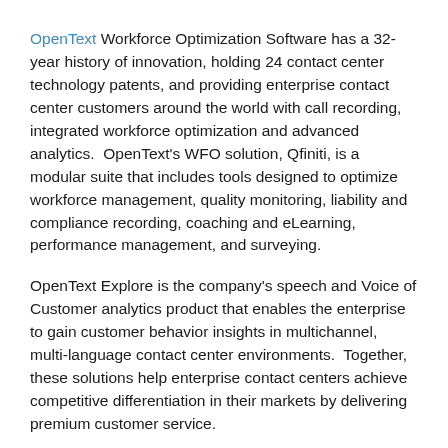OpenText Workforce Optimization Software has a 32-year history of innovation, holding 24 contact center technology patents, and providing enterprise contact center customers around the world with call recording, integrated workforce optimization and advanced analytics.  OpenText's WFO solution, Qfiniti, is a modular suite that includes tools designed to optimize workforce management, quality monitoring, liability and compliance recording, coaching and eLearning, performance management, and surveying.
OpenText Explore is the company's speech and Voice of Customer analytics product that enables the enterprise to gain customer behavior insights in multichannel, multi-language contact center environments.  Together, these solutions help enterprise contact centers achieve competitive differentiation in their markets by delivering premium customer service.
IEX related article